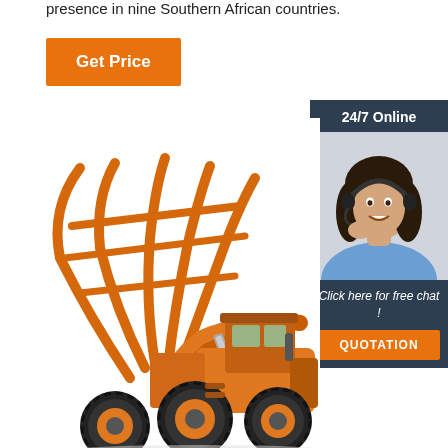presence in nine Southern African countries.
Get Price
[Figure (photo): 24/7 Online chat widget with a female customer service representative wearing a headset, smiling. Below her photo: 'Click here for free chat!' with an orange QUOTATION button.]
[Figure (photo): Large orange wheel loader / front-end loader with a log grapple/claw attachment raised up, shown on a white background.]